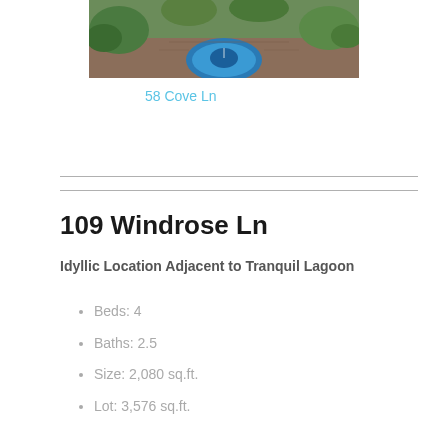[Figure (photo): Aerial/overhead view of a circular fountain or pool with blue water, surrounded by brick/stone paving and greenery]
58 Cove Ln
109 Windrose Ln
Idyllic Location Adjacent to Tranquil Lagoon
Beds: 4
Baths: 2.5
Size: 2,080 sq.ft.
Lot: 3,576 sq.ft.